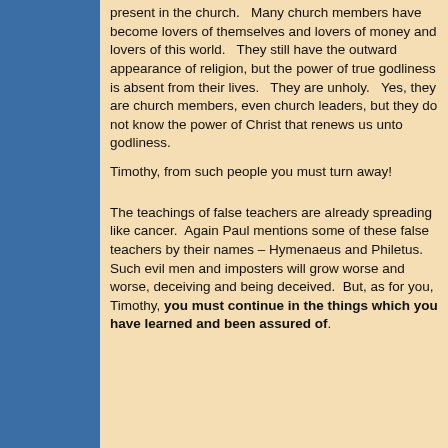present in the church.   Many church members have become lovers of themselves and lovers of money and lovers of this world.   They still have the outward appearance of religion, but the power of true godliness is absent from their lives.   They are unholy.   Yes, they are church members, even church leaders, but they do not know the power of Christ that renews us unto godliness.
Timothy, from such people you must turn away!
The teachings of false teachers are already spreading like cancer.  Again Paul mentions some of these false teachers by their names – Hymenaeus and Philetus.   Such evil men and imposters will grow worse and worse, deceiving and being deceived.  But, as for you, Timothy, you must continue in the things which you have learned and been assured of.